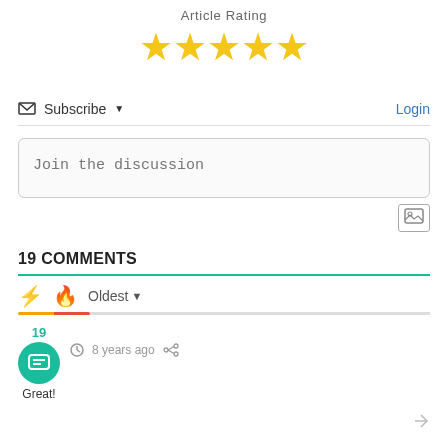Article Rating
[Figure (infographic): Five yellow star rating icons]
✉ Subscribe ▾
Login
Join the discussion
[Figure (infographic): Image upload icon button]
19 COMMENTS
[Figure (infographic): Bolt icon (yellow) and Flame icon (red) sort tabs, with Oldest dropdown selector]
19
[Figure (infographic): Teal circular avatar with chat icon, labeled Great!]
8 years ago